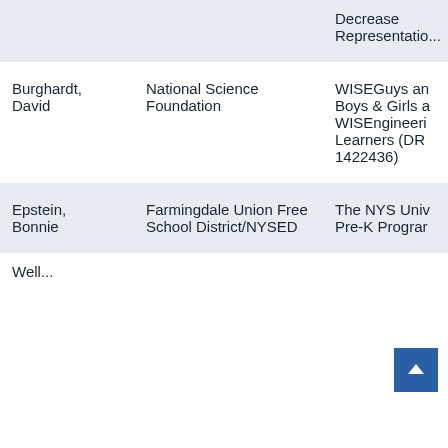| Name | Institution | Project |
| --- | --- | --- |
|  |  | Decrease
Representation |
| Burghardt, David | National Science Foundation | WISEGuys and Boys & Girls a WISEngineering Learners (DRL 1422436) |
| Epstein, Bonnie | Farmingdale Union Free School District/NYSED | The NYS Univ Pre-K Program |
| Well... |  | Revision: Phil... |